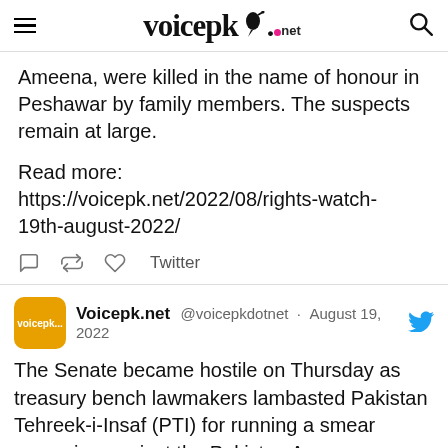voicepk.net
Ameena, were killed in the name of honour in Peshawar by family members. The suspects remain at large.
Read more: https://voicepk.net/2022/08/rights-watch-19th-august-2022/
Voicepk.net @voicepkdotnet · August 19, 2022
The Senate became hostile on Thursday as treasury bench lawmakers lambasted Pakistan Tehreek-i-Insaf (PTI) for running a smear campaign against the Pakistan Army.